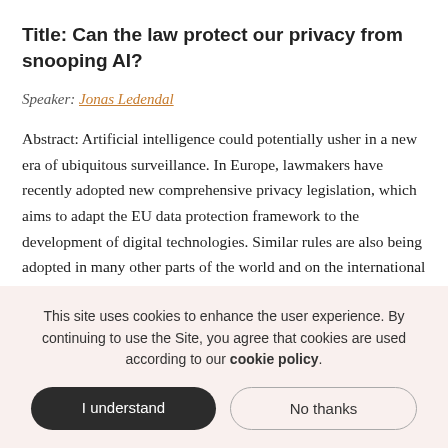Title: Can the law protect our privacy from snooping AI?
Speaker: Jonas Ledendal
Abstract: Artificial intelligence could potentially usher in a new era of ubiquitous surveillance. In Europe, lawmakers have recently adopted new comprehensive privacy legislation, which aims to adapt the EU data protection framework to the development of digital technologies. Similar rules are also being adopted in many other parts of the world and on the international
This site uses cookies to enhance the user experience. By continuing to use the Site, you agree that cookies are used according to our cookie policy.
I understand
No thanks